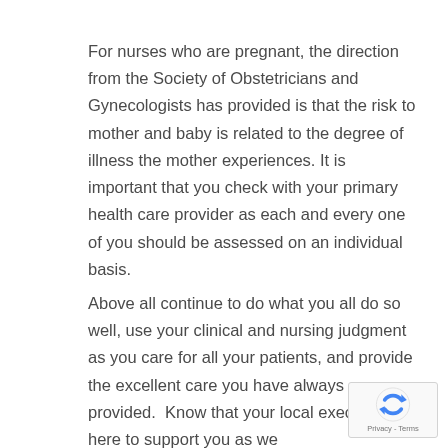For nurses who are pregnant, the direction from the Society of Obstetricians and Gynecologists has provided is that the risk to mother and baby is related to the degree of illness the mother experiences. It is important that you check with your primary health care provider as each and every one of you should be assessed on an individual basis.
Above all continue to do what you all do so well, use your clinical and nursing judgment as you care for all your patients, and provide the excellent care you have always provided. Know that your local executive is here to support you as we go through these most profound…
[Figure (other): reCAPTCHA privacy badge with rotating arrow icon and 'Privacy - Terms' text]